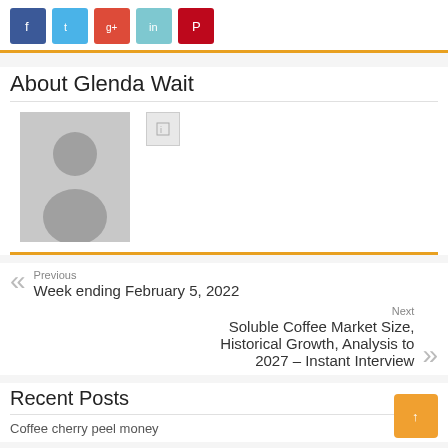Social share buttons: Facebook, Twitter, Google+, LinkedIn, Pinterest
About Glenda Wait
[Figure (illustration): Gray avatar silhouette placeholder image for Glenda Wait, with a small icon button to the right]
Previous
Week ending February 5, 2022
Next
Soluble Coffee Market Size, Historical Growth, Analysis to 2027 – Instant Interview
Recent Posts
Coffee cherry peel money